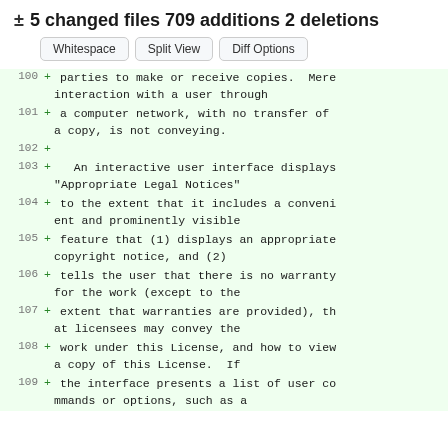± 5 changed files 709 additions 2 deletions
Whitespace  Split View  Diff Options
100 + parties to make or receive copies.  Mere interaction with a user through
101 + a computer network, with no transfer of a copy, is not conveying.
102 +
103 +   An interactive user interface displays "Appropriate Legal Notices"
104 + to the extent that it includes a convenient and prominently visible
105 + feature that (1) displays an appropriate copyright notice, and (2)
106 + tells the user that there is no warranty for the work (except to the
107 + extent that warranties are provided), that licensees may convey the
108 + work under this License, and how to view a copy of this License.  If
109 + the interface presents a list of user commands or options, such as a